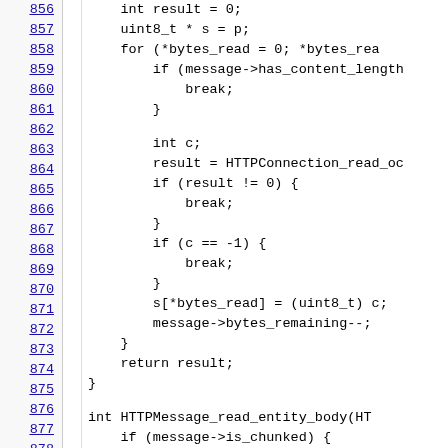[Figure (screenshot): Source code viewer showing C code lines 856-878, with line numbers on the left as blue underlined links, a separator column, and code content on the right. The code shows HTTP message reading logic including loops, break conditions, and function definitions.]